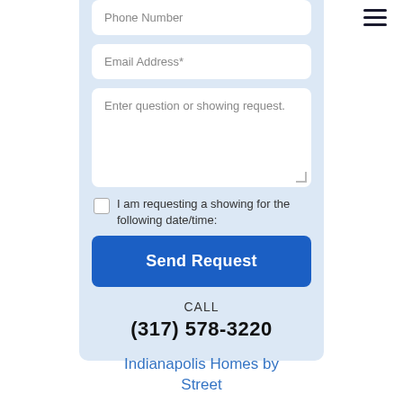[Figure (other): Hamburger menu icon with three horizontal lines in top right corner]
Phone Number
Email Address*
Enter question or showing request.
I am requesting a showing for the following date/time:
Send Request
CALL
(317) 578-3220
Indianapolis Homes by Street